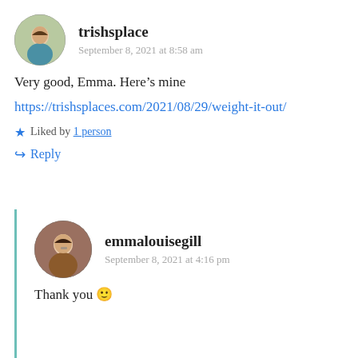trishsplace
September 8, 2021 at 8:58 am
Very good, Emma. Here’s mine
https://trishsplaces.com/2021/08/29/weight-it-out/
Liked by 1 person
Reply
emmalouisegill
September 8, 2021 at 4:16 pm
Thank you 🙂